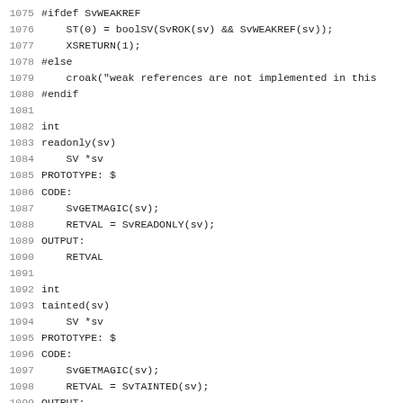Code listing lines 1075–1106 showing Perl XS source code for weakref, readonly, tainted, and isvstring functions